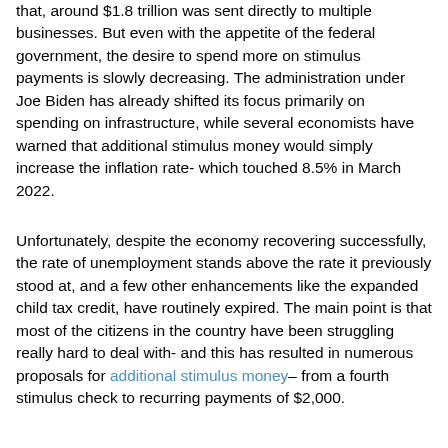that, around $1.8 trillion was sent directly to multiple businesses. But even with the appetite of the federal government, the desire to spend more on stimulus payments is slowly decreasing. The administration under Joe Biden has already shifted its focus primarily on spending on infrastructure, while several economists have warned that additional stimulus money would simply increase the inflation rate- which touched 8.5% in March 2022.
Unfortunately, despite the economy recovering successfully, the rate of unemployment stands above the rate it previously stood at, and a few other enhancements like the expanded child tax credit, have routinely expired. The main point is that most of the citizens in the country have been struggling really hard to deal with- and this has resulted in numerous proposals for additional stimulus money – from a fourth stimulus check to recurring payments of $2,000.